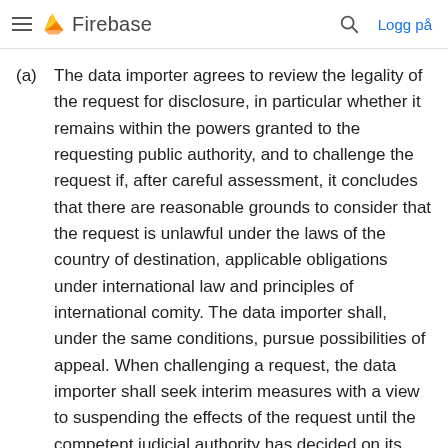≡  Firebase   🔍  Logg på
(a) The data importer agrees to review the legality of the request for disclosure, in particular whether it remains within the powers granted to the requesting public authority, and to challenge the request if, after careful assessment, it concludes that there are reasonable grounds to consider that the request is unlawful under the laws of the country of destination, applicable obligations under international law and principles of international comity. The data importer shall, under the same conditions, pursue possibilities of appeal. When challenging a request, the data importer shall seek interim measures with a view to suspending the effects of the request until the competent judicial authority has decided on its merits. It shall not disclose the personal data requested until required to do so under the applicable procedural rules. These requirements are without